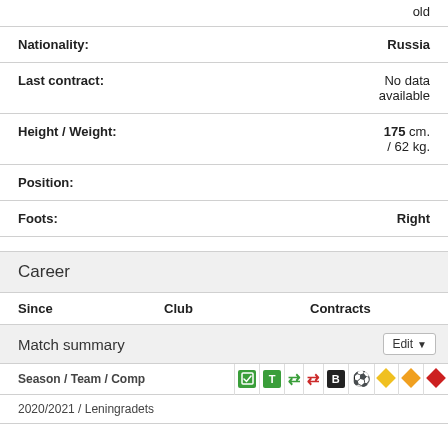old
| Field | Value |
| --- | --- |
| Nationality: | Russia |
| Last contract: | No data available |
| Height / Weight: | 175 cm. / 62 kg. |
| Position: |  |
| Foots: | Right |
Career
| Since | Club | Contracts |
| --- | --- | --- |
Match summary
| Season / Team / Comp |  |  |  |  |  |  |  |  |  |
| --- | --- | --- | --- | --- | --- | --- | --- | --- | --- |
| 2020/2021 / Leningradets |  |  |  |  |  |  |  |  |  |